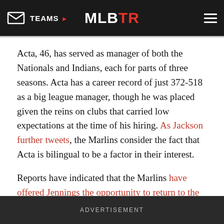TEAMS | MLBTR
Acta, 46, has served as manager of both the Nationals and Indians, each for parts of three seasons. Acta has a career record of just 372-518 as a big league manager, though he was placed given the reins on clubs that carried low expectations at the time of his hiring. As Jackson further tweets, the Marlins consider the fact that Acta is bilingual to be a factor in their interest.
Reports have indicated that the Marlins have offered Jennings the opportunity to return to the front office this offseason, but it's unclear exactly how similar his role would be. Assistant GM Mike Berger has assumed a great deal of Jennings' duties since the change and is said to have the ear of owner Jeffrey Loria. The Marlins have also reassigned one of Jennings' lieutenants
ADVERTISEMENT